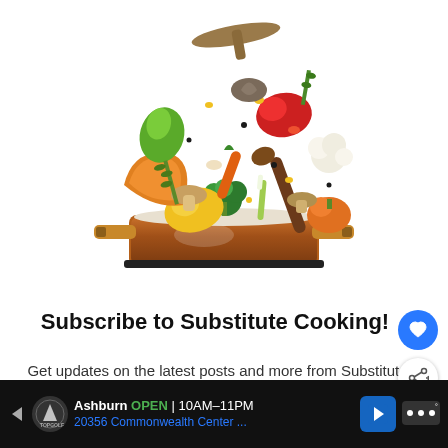[Figure (photo): A copper cooking pot with various vegetables and ingredients flying up into the air above it — including peppers, pumpkin, broccoli, mushrooms, cauliflower, carrots, herbs, and a wooden spoon — on a white background.]
Subscribe to Substitute Cooking!
Get updates on the latest posts and more from Substitute Cooking straight to your inbox.
[Figure (infographic): Advertisement bar at the bottom: Topgolf logo with text 'Ashburn OPEN 10AM-11PM' and '20356 Commonwealth Center ...' in blue, with a blue navigation arrow icon on the right and dots icon.]